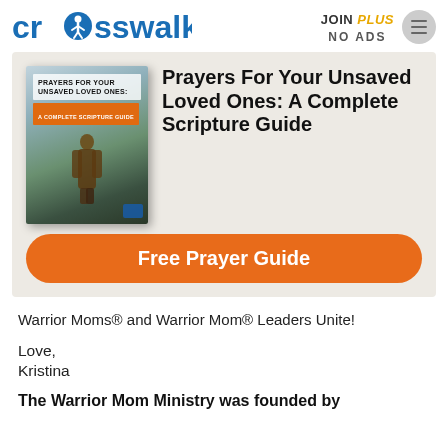crosswalk.com  JOIN PLUS NO ADS
[Figure (illustration): Advertisement banner for 'Prayers For Your Unsaved Loved Ones: A Complete Scripture Guide' with book cover image on left showing a person praying outdoors, bold title text on right, and an orange 'Free Prayer Guide' CTA button at the bottom.]
Warrior Moms® and Warrior Mom® Leaders Unite!
Love,
Kristina
The Warrior Mom Ministry was founded by